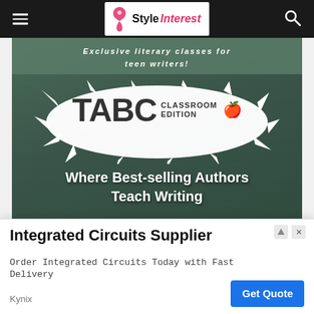[Figure (screenshot): StyleInterest website navigation bar with hamburger menu on left, StyleInterest logo in center, and search icon on right, on dark background]
[Figure (screenshot): TABC Classroom Edition advertisement on chalkboard-green background. Text: 'Exclusive literary classes for teen writers!' with TABC CLASSROOM EDITION logo and apple emoji, 'Where Best-selling Authors Teach Writing' and a 'Learn' button]
[Figure (screenshot): Mario Badescu advertisement showing two product bottles on pink and mint green background with a CLOSE button and X dismiss button]
[Figure (screenshot): Integrated Circuits Supplier popup advertisement. Title: 'Integrated Circuits Supplier'. Body: 'Order Integrated Circuits Today with Fast Delivery'. Provider: 'Kynix'. Button: 'Get Quote']